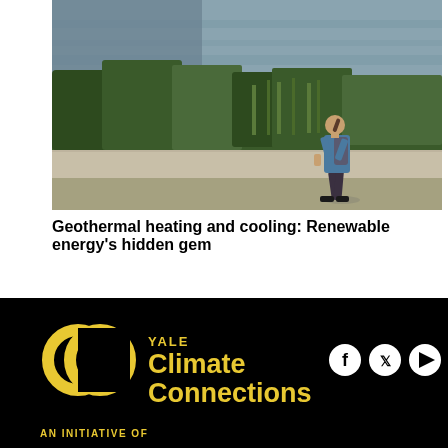[Figure (photo): A person walking along a path beside a river or lake, with lush green trees and reeds in the background. The person is wearing a blue t-shirt, dark shorts, and carries a backpack.]
Geothermal heating and cooling: Renewable energy's hidden gem
[Figure (logo): Yale Climate Connections logo: two overlapping yellow circles forming CC shape, with text 'YALE Climate Connections' in yellow on black background, and social media icons (Facebook, Twitter, YouTube) in white.]
AN INITIATIVE OF